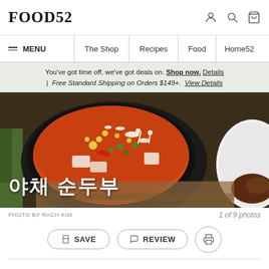FOOD52
MENU | The Shop | Recipes | Food | Home52
You've got time off, we've got deals on. Shop now. Details | Free Standard Shipping on Orders $149+. View Details
[Figure (photo): A Korean soft tofu stew (sundubu-jjigae) in a black stone bowl filled with orange broth, mushrooms, vegetables, corn. Korean text overlay reading 야채 순두부. Another dish visible on the right edge.]
PHOTO BY RACH KIM | 1 of 9 photos
SAVE  REVIEW  [print]
Rate this recipe:  ★ ★ ★ ★ ★